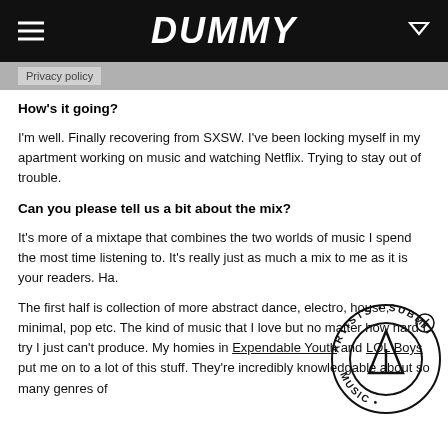DUMMY
Privacy policy
How's it going?
I'm well. Finally recovering from SXSW. I've been locking myself in my apartment working on music and watching Netflix. Trying to stay out of trouble.
Can you please tell us a bit about the mix?
It's more of a mixtape that combines the two worlds of music I spend the most time listening to. It's really just as much a mix to me as it is your readers. Ha.
The first half is collection of more abstract dance, electro, house, minimal, pop etc. The kind of music that I love but no matter how hard I try I just can't produce. My homies in Expendable Youth and LOL Boys put me on to a lot of this stuff. They're incredibly knowledgable about so many genres of
[Figure (logo): Circular badge watermark reading ARTISTS • SUBMIT MUSIC with an upward triangle arrow in center and X icon]